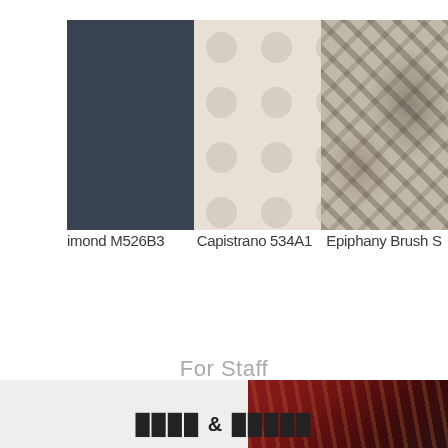[Figure (illustration): Three fabric/material swatches displayed side by side: left swatch is solid dark navy/slate blue, middle swatch is beige/cream with a repeating circular/bubble pattern, right swatch is beige/taupe with an abstract brushstroke or camouflage-like pattern in dark tones.]
imond M526B3    Capistrano 534A1    Epiphany Brush S
For Staff
[Figure (photo): Partially visible bottom section showing a light gray background on the left and a dark red/burgundy patterned fabric or material on the right, with bold dark text partially visible at the bottom center.]